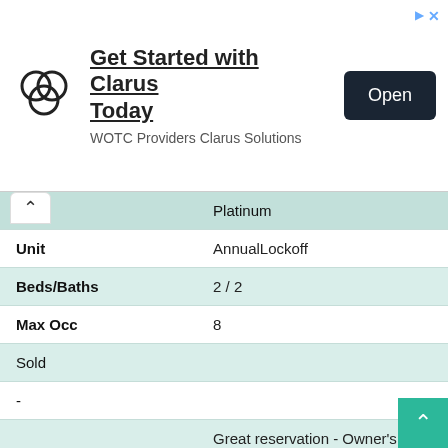[Figure (screenshot): Advertisement banner: Clarus logo (overlapping circles), headline 'Get Started with Clarus Today', sub-text 'WOTC Providers Clarus Solutions', and an 'Open' button on the right.]
|  | Platinum |
| --- | --- |
| Unit | AnnualLockoff |
| Beds/Baths | 2 / 2 |
| Max Occ | 8 |
| Sold |  |
| - |  |
| Comments | Great reservation - Owner's last unit - others already sold - owner will entertain offer - July |